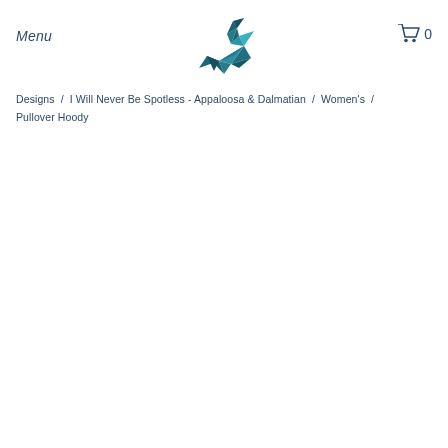Menu
[Figure (logo): Origami hummingbird logo in teal/dark teal geometric facets]
0
Designs  /  I Will Never Be Spotless - Appaloosa & Dalmatian  /  Women's  /  Pullover Hoody